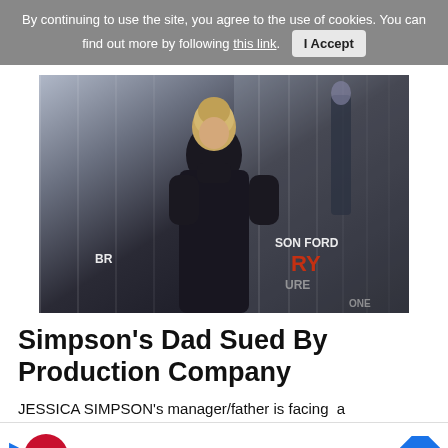By continuing to use the site, you agree to the use of cookies. You can find out more by following this link.  I Accept
[Figure (photo): A blonde woman in a black turtleneck stands in front of a movie poster backdrop showing partial text 'BR', 'SON FORD', 'RY', 'URE', 'ONE'. A man in a suit is visible in the background.]
Simpson's Dad Sued By Production Company
JESSICA SIMPSON's manager/father is facing a lawsuit from a music production company, filed in a suit fil...
[Figure (other): Dairy Queen advertisement banner showing DQ logo, checkmarks next to 'Takeout' and 'Delivery', with a blue navigation arrow on the right. Play and close icons visible on the left side.]